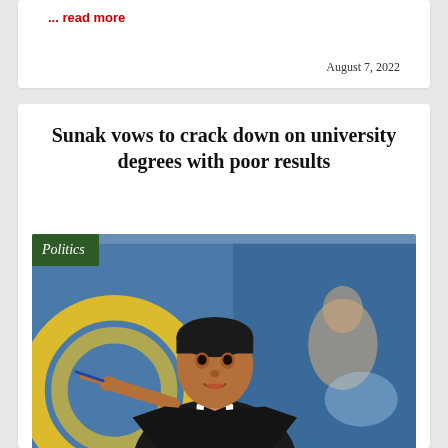... read more
August 7, 2022
Sunak vows to crack down on university degrees with poor results
[Figure (photo): Rishi Sunak in a suit pointing at the camera, with a blurred older man in the background and colorful blue/yellow backdrop. A 'Politics' badge overlays the top-left corner of the image.]
...